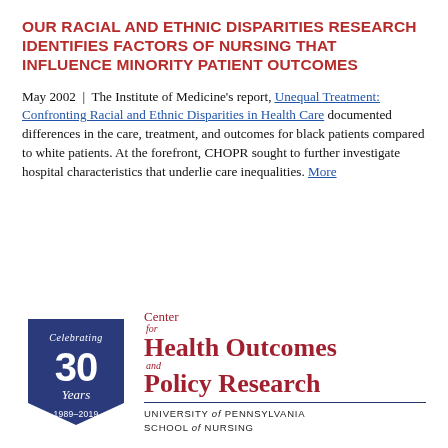OUR RACIAL AND ETHNIC DISPARITIES RESEARCH IDENTIFIES FACTORS OF NURSING THAT INFLUENCE MINORITY PATIENT OUTCOMES
May 2002 | The Institute of Medicine's report, Unequal Treatment: Confronting Racial and Ethnic Disparities in Health Care documented differences in the care, treatment, and outcomes for black patients compared to white patients. At the forefront, CHOPR sought to further investigate hospital characteristics that underlie care inequalities. More
[Figure (logo): Center for Health Outcomes and Policy Research logo with a blue shield badge celebrating 30 years (1989-2019) and University of Pennsylvania School of Nursing text]